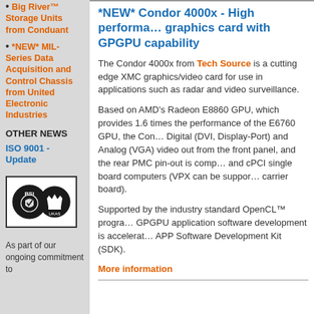Big River™ Storage Units from Conduant
*NEW* MIL-Series Data Acquisition and Control Chassis from United Electronic Industries
OTHER NEWS
ISO 9001 - Update
[Figure (logo): BSI and UKAS certification logos in a bordered box]
As part of our ongoing commitment to
*NEW* Condor 4000x - High performance graphics card with GPGPU capability
The Condor 4000x from Tech Source is a cutting edge XMC graphics/video card for use in applications such as radar and video surveillance.
Based on AMD's Radeon E8860 GPU, which provides 1.6 times the performance of the E6760 GPU, the Condor Digital (DVI, Display-Port) and Analog (VGA) video out from the front panel, and the rear PMC pin-out is compatible and cPCI single board computers (VPX can be supported via a carrier board).
Supported by the industry standard OpenCL™ program GPGPU application software development is accelerated APP Software Development Kit (SDK).
More information